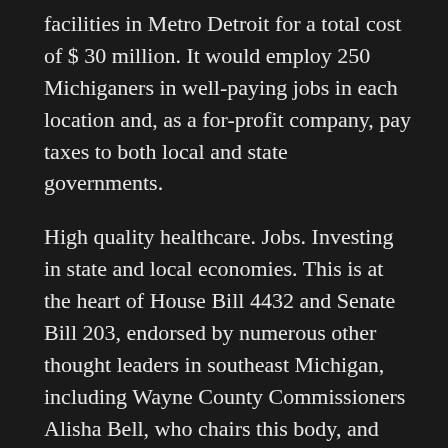facilities in Metro Detroit for a total cost of $ 30 million. It would employ 250 Michiganers in well-paying jobs in each location and, as a for-profit company, pay taxes to both local and state governments.
High quality healthcare. Jobs. Investing in state and local economies. This is at the heart of House Bill 4432 and Senate Bill 203, endorsed by numerous other thought leaders in southeast Michigan, including Wayne County Commissioners Alisha Bell, who chairs this body, and Tim Killeen; Brenda Jones, President of Detroit City Council, and her colleague, City Councilor Andre Spivey; and Detroit NAACP President of the Rev. Wendell Anthony.